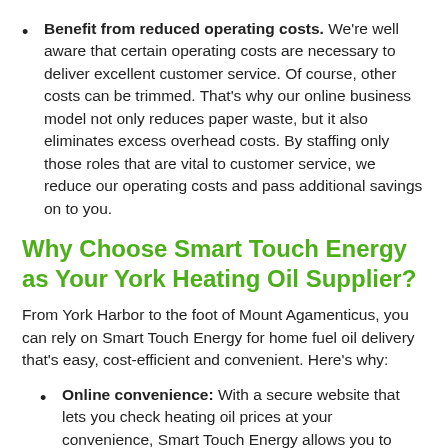Benefit from reduced operating costs. We're well aware that certain operating costs are necessary to deliver excellent customer service. Of course, other costs can be trimmed. That's why our online business model not only reduces paper waste, but it also eliminates excess overhead costs. By staffing only those roles that are vital to customer service, we reduce our operating costs and pass additional savings on to you.
Why Choose Smart Touch Energy as Your York Heating Oil Supplier?
From York Harbor to the foot of Mount Agamenticus, you can rely on Smart Touch Energy for home fuel oil delivery that's easy, cost-efficient and convenient. Here's why:
Online convenience: With a secure website that lets you check heating oil prices at your convenience, Smart Touch Energy allows you to order and pay